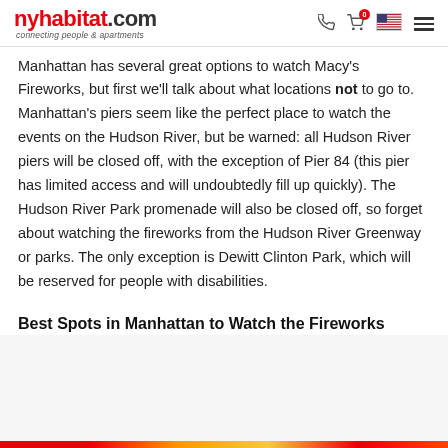nyhabitat.com — connecting people & apartments
Manhattan has several great options to watch Macy's Fireworks, but first we'll talk about what locations not to go to. Manhattan's piers seem like the perfect place to watch the events on the Hudson River, but be warned: all Hudson River piers will be closed off, with the exception of Pier 84 (this pier has limited access and will undoubtedly fill up quickly). The Hudson River Park promenade will also be closed off, so forget about watching the fireworks from the Hudson River Greenway or parks. The only exception is Dewitt Clinton Park, which will be reserved for people with disabilities.
Best Spots in Manhattan to Watch the Fireworks